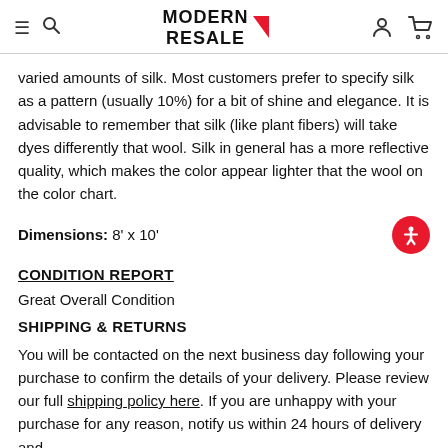MODERN RESALE
varied amounts of silk. Most customers prefer to specify silk as a pattern (usually 10%) for a bit of shine and elegance. It is advisable to remember that silk (like plant fibers) will take dyes differently that wool. Silk in general has a more reflective quality, which makes the color appear lighter that the wool on the color chart.
Dimensions: 8' x 10'
CONDITION REPORT
Great Overall Condition
SHIPPING & RETURNS
You will be contacted on the next business day following your purchase to confirm the details of your delivery. Please review our full shipping policy here. If you are unhappy with your purchase for any reason, notify us within 24 hours of delivery and